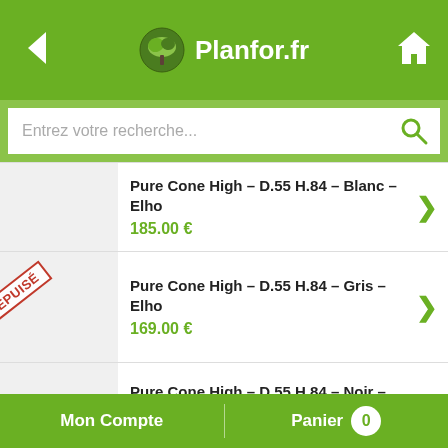Planfor.fr
Entrez votre recherche...
Pure Cone High – D.55 H.84 – Blanc – Elho
185.00 €
ÉPUISÉ
Pure Cone High – D.55 H.84 – Gris – Elho
169.00 €
Pure Cone High – D.55 H.84 – Noir – Elho
185.00 €
Mon Compte    Panier 0